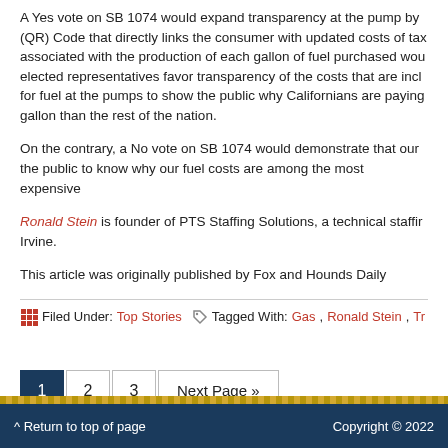A Yes vote on SB 1074 would expand transparency at the pump by (QR) Code that directly links the consumer with updated costs of tax associated with the production of each gallon of fuel purchased wou elected representatives favor transparency of the costs that are incl for fuel at the pumps to show the public why Californians are paying gallon than the rest of the nation.
On the contrary, a No vote on SB 1074 would demonstrate that our the public to know why our fuel costs are among the most expensive
Ronald Stein is founder of PTS Staffing Solutions, a technical staffir Irvine.
This article was originally published by Fox and Hounds Daily
Filed Under: Top Stories   Tagged With: Gas, Ronald Stein, Tr
1  2  3  Next Page »
^ Return to top of page    Copyright © 2022